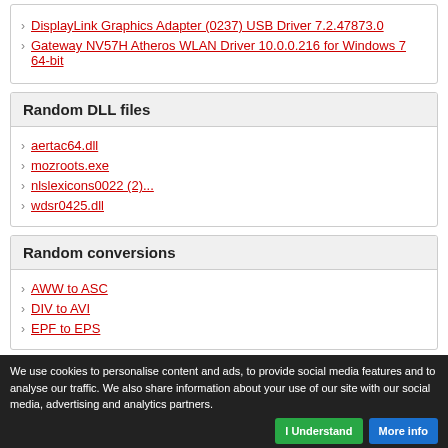DisplayLink Graphics Adapter (0237) USB Driver 7.2.47873.0
Gateway NV57H Atheros WLAN Driver 10.0.0.216 for Windows 7 64-bit
Random DLL files
aertac64.dll
mozroots.exe
nlslexicons0022 (2)...
wdsr0425.dll
Random conversions
AWW to ASC
DIV to AVI
EPF to EPS
We use cookies to personalise content and ads, to provide social media features and to analyse our traffic. We also share information about your use of our site with our social media, advertising and analytics partners.